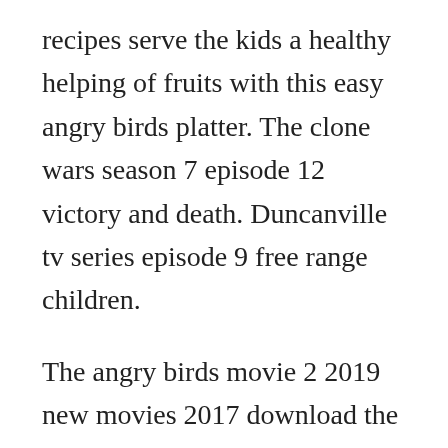recipes serve the kids a healthy helping of fruits with this easy angry birds platter. The clone wars season 7 episode 12 victory and death. Duncanville tv series episode 9 free range children.
The angry birds movie 2 2019 new movies 2017 download the angry birds movie 2 2019 hd 720p full movie for. Copains comme cochons multi avec truefrench full ultrahd 4k films ultrahd 4k full bluray ultrahd 4k 12112019, 23. Copains comme cochons ryan gosling, lami des betes paris match publie le